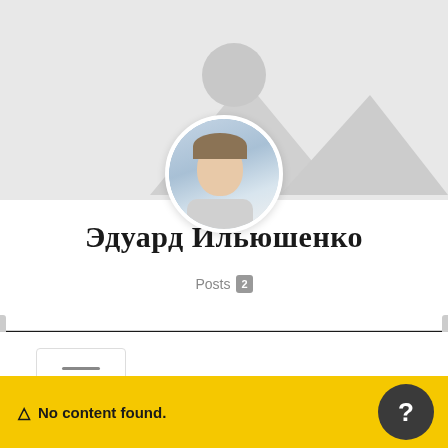[Figure (photo): Profile page screenshot showing a user profile with decorative mountain/triangle background graphic, circular profile photo of a young man in a light jacket, username in Russian Cyrillic, posts count badge, hamburger menu button, and a yellow notification bar at the bottom saying 'No content found.']
Эдуард Ильюшенко
Posts 2
⚠ No content found.